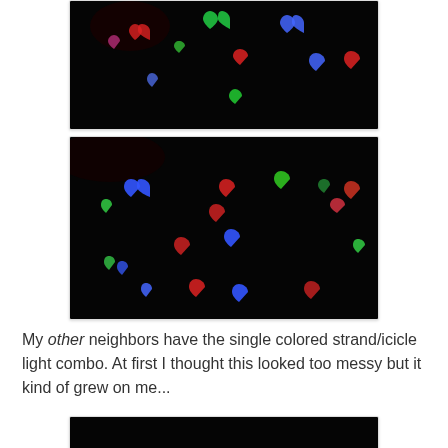[Figure (photo): Bokeh heart-shaped lights in red, green, blue on black background - top photo]
[Figure (photo): Bokeh heart-shaped lights in red, green, blue on black background - middle photo]
My other neighbors have the single colored strand/icicle light combo. At first I thought this looked too messy but it kind of grew on me...
[Figure (photo): Partial view of another bokeh lights photo - bottom, mostly black]